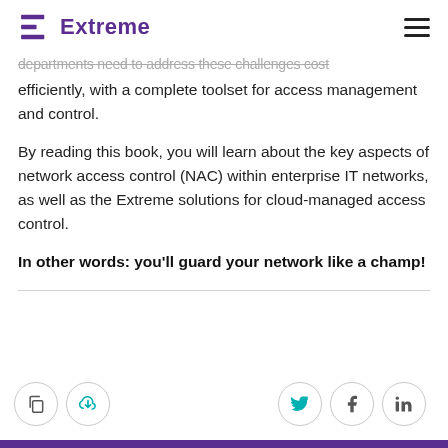Extreme
departments need to address these challenges cost efficiently, with a complete toolset for access management and control.
By reading this book, you will learn about the key aspects of network access control (NAC) within enterprise IT networks, as well as the Extreme solutions for cloud-managed access control.
In other words: you'll guard your network like a champ!